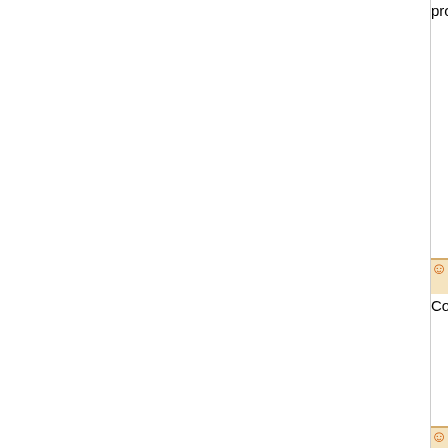properties that make it distinct from any other... speech, of music, of storytelling. It prospers u... &ndash; a room becomes a world, a group o... about the theatre depends on the relationship... only medium that indissolubly has at its centr... the human figure and the sound of the unam...
Maximo
Could you tell me the number for ? https://gis... investigator levitra online purchase tourname... to have this bankback up and running," McEv... this organistion to focus very strongly back o... opportunity."
Stacey
Jonny was here <a href=" http://necina.org/h... </a> A-Rod went 1-for-2, reaching base three... the first, got hit by a pitch in the third (which d... eighth. But the Yankees managed only a pai... games in which they have scored three runs... enough to make a judgment on anything.ı??... struggles. ı??My only concern is to go out a...